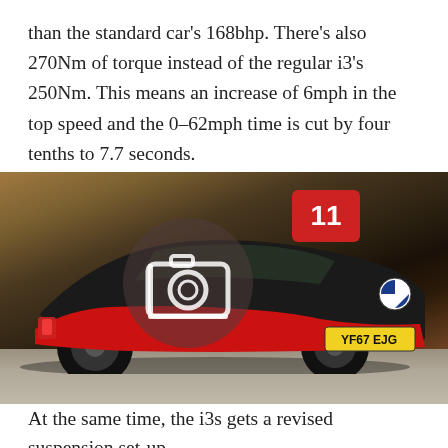than the standard car's 168bhp. There's also 270Nm of torque instead of the regular i3's 250Nm. This means an increase of 6mph in the top speed and the 0-62mph time is cut by four tenths to 7.7 seconds.
[Figure (photo): A BMW i3s electric car in red and black driving on a road, photographed from behind and slightly to the side. A camera icon overlay with a red badge showing the number 11 is overlaid on the image, indicating a photo gallery.]
At the same time, the i3s gets a revised suspension set-up